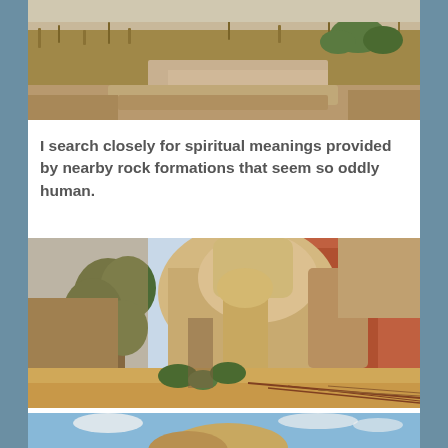[Figure (photo): Partial view of a dry desert landscape with sparse dry grass, shrubs, and what appears to be a road or pathway with rocky terrain. The top portion of an outdoor scene is visible.]
I search closely for spiritual meanings provided by nearby rock formations that seem so oddly human.
[Figure (photo): A canyon landscape showing large tan and orange sandstone rock formations. Trees and shrubs grow among the rocks. A metal wire fence/railing is visible in the lower right. Red canyon walls are visible in the background.]
[Figure (photo): Bottom portion of another outdoor desert/canyon scene visible at the bottom of the page, showing blue sky and rock formations.]